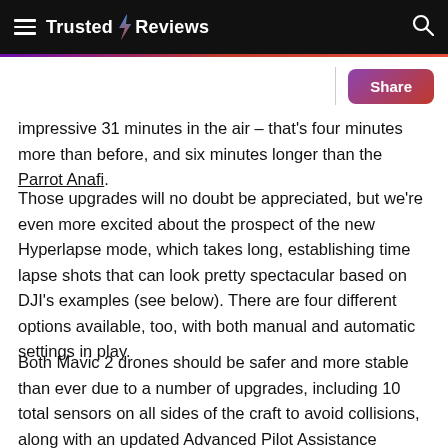Trusted Reviews
impressive 31 minutes in the air – that's four minutes more than before, and six minutes longer than the Parrot Anafi.
Those upgrades will no doubt be appreciated, but we're even more excited about the prospect of the new Hyperlapse mode, which takes long, establishing time lapse shots that can look pretty spectacular based on DJI's examples (see below). There are four different options available, too, with both manual and automatic settings in play.
Both Mavic 2 drones should be safer and more stable than ever due to a number of upgrades, including 10 total sensors on all sides of the craft to avoid collisions, along with an updated Advanced Pilot Assistance System for